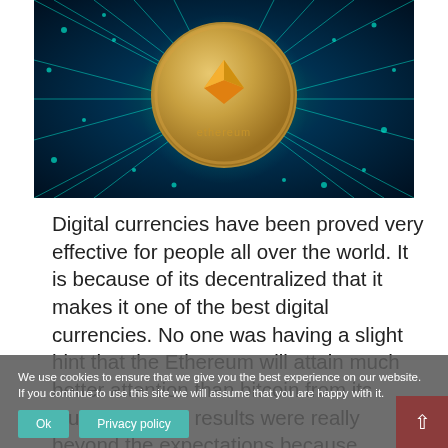[Figure (photo): An Ethereum coin (gold colored with the Ethereum diamond logo and 'ethereum' text) on a glowing blue-green circuit board background with radiating circuit lines]
Digital currencies have been proved very effective for people all over the world. It is because of its decentralized that it makes it one of the best digital currencies. No one was having a slight hint that the Ethereum will attain much better attention than bitcoin from its launch. But the results were really beyond the expectations because Ethereum is based on much innovative technology and
We use cookies to ensure that we give you the best experience on our website. If you continue to use this site we will assume that you are happy with it.